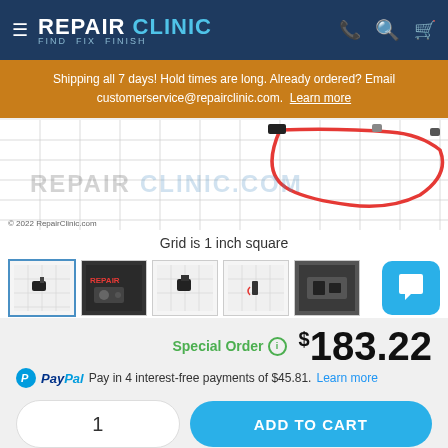REPAIR CLINIC - FIND. FIX. FINISH.
Shipping all 7 days! Hold times are long. Already ordered? Email customerservice@repairclinic.com. Learn more
[Figure (photo): Product photo on grid background with red component visible. Watermark reads REPAIRCLINIC.COM. Copyright 2022 RepairClinic.com]
Grid is 1 inch square
[Figure (photo): Thumbnail strip showing 5 product images and a chat button]
Special Order  $183.22
PayPal Pay in 4 interest-free payments of $45.81. Learn more
1  ADD TO CART